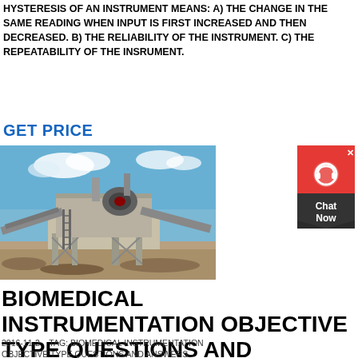HYSTERESIS OF AN INSTRUMENT MEANS: A) THE CHANGE IN THE SAME READING WHEN INPUT IS FIRST INCREASED AND THEN DECREASED. B) THE RELIABILITY OF THE INSTRUMENT. C) THE REPEATABILITY OF THE INSRUMENT.
GET PRICE
[Figure (photo): Outdoor industrial mining/crushing plant machinery with conveyor belts and heavy equipment under a blue sky with clouds.]
[Figure (infographic): Red and dark chat widget with headset icon and 'Chat Now' text with close button.]
BIOMEDICAL INSTRUMENTATION OBJECTIVE TYPE QUESTIONS AND
2016-11-2   TAG: BIOMEDICAL INSTRUMENTATION OBJECTIVE TYPE QUESTIONS AND ANSWERS